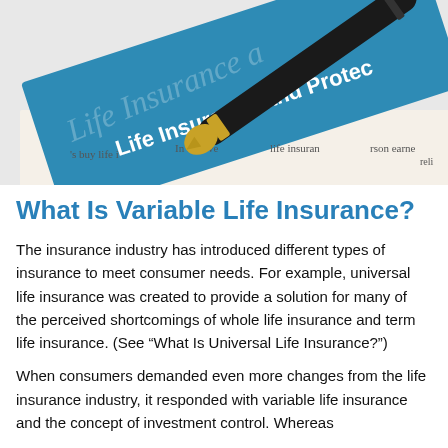[Figure (photo): A blue card or document reading 'Life Insurance and Protection' in white text with a fountain pen resting on top of printed life insurance policy text.]
What Is Variable Life Insurance?
The insurance industry has introduced different types of insurance to meet consumer needs. For example, universal life insurance was created to provide a solution for many of the perceived shortcomings of whole life insurance and term life insurance. (See “What Is Universal Life Insurance?”)
When consumers demanded even more changes from the life insurance industry, it responded with variable life insurance and the concept of investment control. Whereas